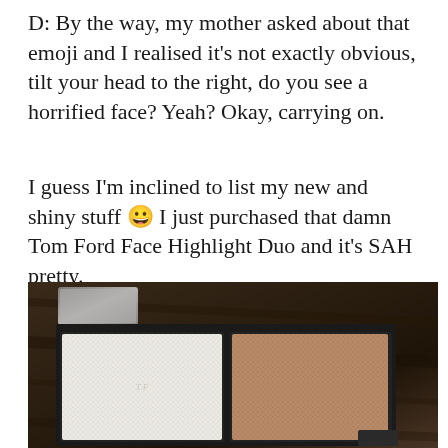D: By the way, my mother asked about that emoji and I realised it's not exactly obvious, tilt your head to the right, do you see a horrified face? Yeah? Okay, carrying on.
I guess I'm inclined to list my new and shiny stuff 😀 I just purchased that damn Tom Ford Face Highlight Duo and it's SAH pretty.
[Figure (photo): Close-up photo of a Tom Ford Face Highlight Duo compact with two pans — one white/pearl highlighter on the left and one rose-gold/bronze shimmer on the right, set against a dark wood background. The compact has a black frame.]